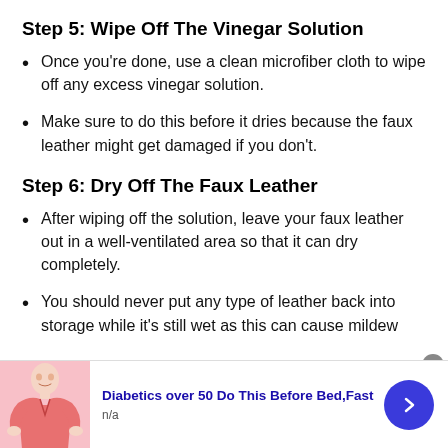Step 5: Wipe Off The Vinegar Solution
Once you're done, use a clean microfiber cloth to wipe off any excess vinegar solution.
Make sure to do this before it dries because the faux leather might get damaged if you don't.
Step 6: Dry Off The Faux Leather
After wiping off the solution, leave your faux leather out in a well-ventilated area so that it can dry completely.
You should never put any type of leather back into storage while it's still wet as this can cause mildew
[Figure (infographic): Advertisement banner showing a person in a pink shirt with text 'Diabetics over 50 Do This Before Bed,Fast' and source 'n/a' with a blue arrow button]